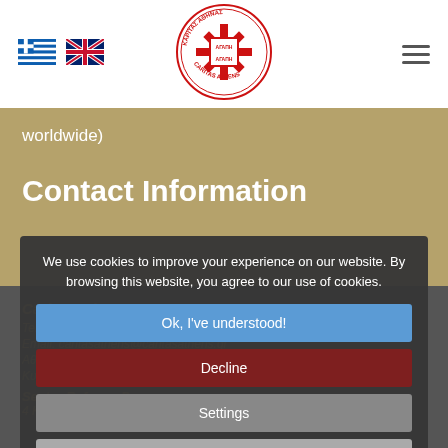[Figure (logo): Caritas Athens circular logo in red with cross and Greek text ΚΑΡΙΤΑΣ ΑΘΗΝΑΣ / CARITAS ATHENS]
[Figure (illustration): Greek flag icon]
[Figure (illustration): UK flag icon]
worldwide)
Contact Information
Caritas Athens
We use cookies to improve your experience on our website. By browsing this website, you agree to our use of cookies.
Ok, I've understood!
Decline
Settings
More Info